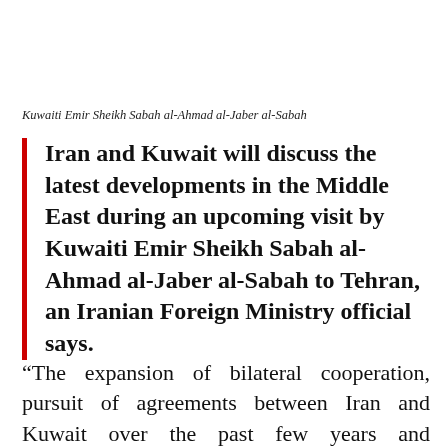Kuwaiti Emir Sheikh Sabah al-Ahmad al-Jaber al-Sabah
Iran and Kuwait will discuss the latest developments in the Middle East during an upcoming visit by Kuwaiti Emir Sheikh Sabah al-Ahmad al-Jaber al-Sabah to Tehran, an Iranian Foreign Ministry official says.
“The expansion of bilateral cooperation, pursuit of agreements between Iran and Kuwait over the past few years and consultation about